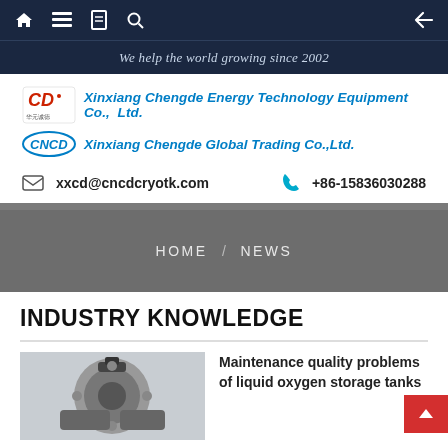Navigation bar with home, menu, book, search icons and back arrow
We help the world growing since 2002
[Figure (logo): Xinxiang Chengde Energy Technology Equipment Co., Ltd. and Xinxiang Chengde Global Trading Co.,Ltd. logos with company names in blue italic]
xxcd@cncdcryotk.com   +86-15836030288
HOME / NEWS
INDUSTRY KNOWLEDGE
[Figure (photo): Thumbnail photo of liquid oxygen storage tank hardware/valves]
Maintenance quality problems of liquid oxygen storage tanks